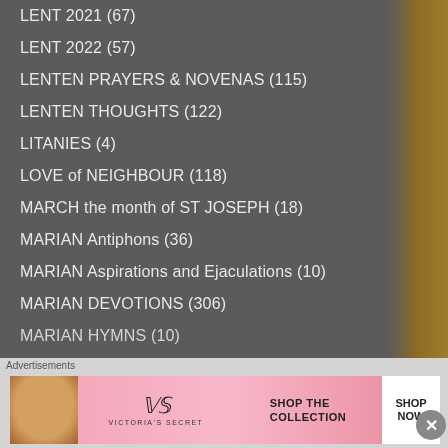LENT 2021 (67)
LENT 2022 (57)
LENTEN PRAYERS & NOVENAS (115)
LENTEN THOUGHTS (122)
LITANIES (4)
LOVE of NEIGHBOUR (118)
MARCH the month of ST JOSEPH (18)
MARIAN Antiphons (36)
MARIAN Aspirations and Ejaculations (10)
MARIAN DEVOTIONS (306)
MARIAN HYMNS (10)
Advertisements
[Figure (screenshot): Victoria's Secret advertisement banner with pink background, woman model, VS logo, 'SHOP THE COLLECTION' text, and 'SHOP NOW' button]